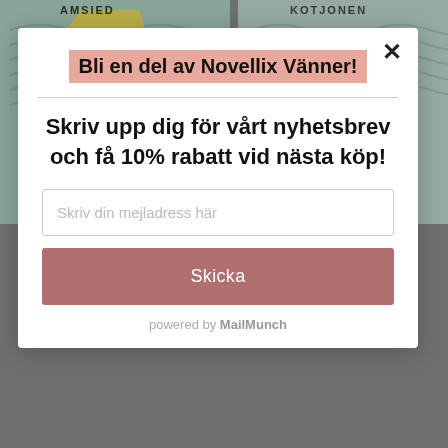[Figure (illustration): Background showing two book covers partially visible: left cover has yellow abstract shapes on teal/blue wavy background, right cover has green figure on similar wavy background. Text partially visible: 'AMSIED' and 'KOTJONEN'.]
Bli en del av Novellix Vänner!
Skriv upp dig för vårt nyhetsbrev och få 10% rabatt vid nästa köp!
Skriv din mejladress här
Skicka
powered by MailMunch